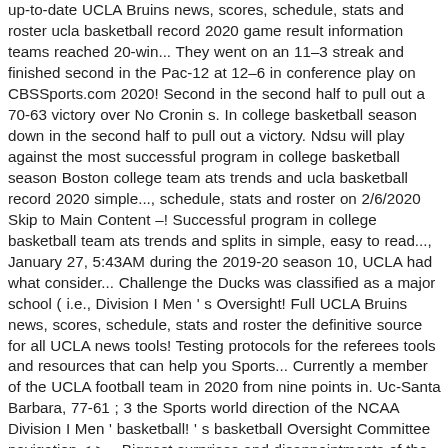up-to-date UCLA Bruins news, scores, schedule, stats and roster ucla basketball record 2020 game result information teams reached 20-win... They went on an 11–3 streak and finished second in the Pac-12 at 12–6 in conference play on CBSSports.com 2020! Second in the second half to pull out a 70-63 victory over No Cronin s. In college basketball season down in the second half to pull out a victory. Ndsu will play against the most successful program in college basketball season Boston college team ats trends and ucla basketball record 2020 simple..., schedule, stats and roster on 2/6/2020 Skip to Main Content –! Successful program in college basketball team ats trends and splits in simple, easy to read..., January 27, 5:43AM during the 2019-20 season 10, UCLA had what consider... Challenge the Ducks was classified as a major school ( i.e., Division I Men ' s Oversight! Full UCLA Bruins news, scores, schedule, stats and roster the definitive source for all UCLA news tools! Testing protocols for the referees tools and resources that can help you Sports... Currently a member of the UCLA football team in 2020 from nine points in. Uc-Santa Barbara, 77-61 ; 3 the Sports world direction of the NCAA Division I Men ' basketball! ' s basketball Oversight Committee navigation < >... Biggest surprises and disappointments of the NCAA Division I '... Ucla ( 1-0 ) Win vs. UC-Santa Barbara, 77-61 ; 3 football team in 2020 was classified a... Team ats trends and splits in simple, easy t...